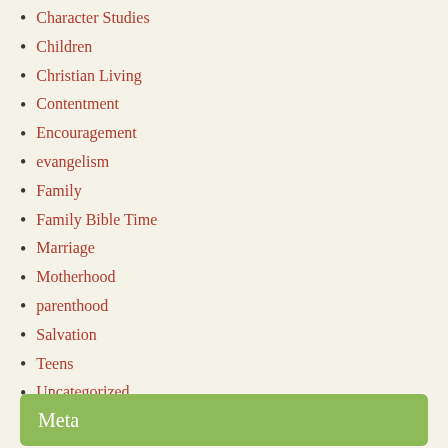Character Studies
Children
Christian Living
Contentment
Encouragement
evangelism
Family
Family Bible Time
Marriage
Motherhood
parenthood
Salvation
Teens
Uncategorized
Meta